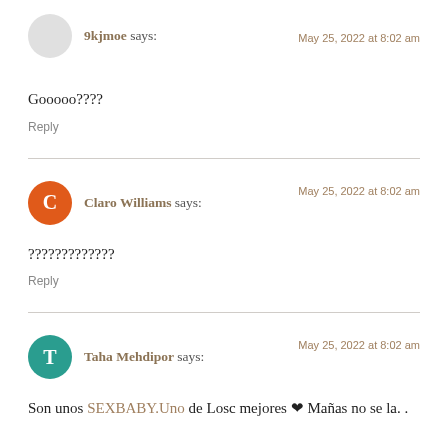9kjmoe says:
May 25, 2022 at 8:02 am
Gooooo????
Reply
Claro Williams says:
May 25, 2022 at 8:02 am
?????????????
Reply
Taha Mehdipor says:
May 25, 2022 at 8:02 am
Son unos SEXBABY.Uno de Losc mejores ❤ Mañas no se la. .